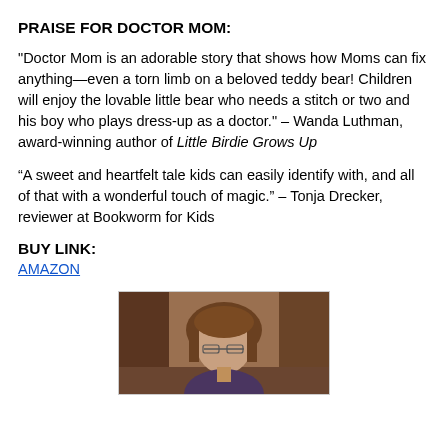PRAISE FOR DOCTOR MOM:
"Doctor Mom is an adorable story that shows how Moms can fix anything—even a torn limb on a beloved teddy bear! Children will enjoy the lovable little bear who needs a stitch or two and his boy who plays dress-up as a doctor." – Wanda Luthman, award-winning author of Little Birdie Grows Up
“A sweet and heartfelt tale kids can easily identify with, and all of that with a wonderful touch of magic.” – Tonja Drecker, reviewer at Bookworm for Kids
BUY LINK:
AMAZON
[Figure (photo): Photo of a woman with short brown hair and glasses, in a warm indoor setting]